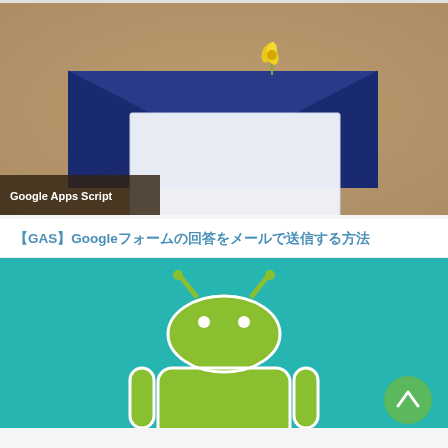[Figure (photo): A dark blue envelope with a small yellow flower on top, and a white card/letter in front, on a brown kraft paper background. Bottom-left overlay label reads 'Google Apps Script'.]
【GAS】Googleフォームの回答をメールで送信する方法
[Figure (illustration): Android robot mascot logo on a teal/turquoise background with a green circular back-to-top button at the bottom right.]